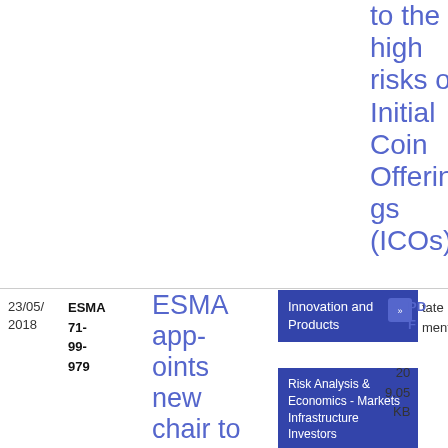to the high risks of Initial Coin Offerings (ICOs)
23/05/2018
ESMA 71-99-979
ESMA appoints new chair to its Com­mi...
Innovation and Products
tate ment
Risk Analysis & Economics - Markets Infrastructure Investors
PDF
20 9.05 KB